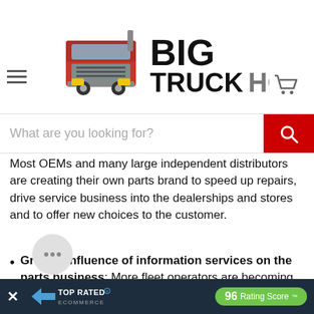[Figure (logo): Big Truck Hoods logo with red semi-truck image and bold text BIG TRUCKHOODS]
[Figure (other): Hamburger menu icon (three horizontal lines) on left, shopping cart icon on right]
[Figure (other): Search bar with placeholder text 'What are you looking for?' and red search button with magnifying glass icon]
Most OEMs and many large independent distributors are creating their own parts brand to speed up repairs, drive service business into the dealerships and stores and to offer new choices to the customer.
Greater influence of information services on the parts business: More fleet operators are becoming comfortable with shopping and buying their parts on... make compar...
[Figure (other): Chat bubble icon with ellipsis]
[Figure (other): Bottom banner: TOP RATED ECOMMERCE badge with 96 Rating Score™]